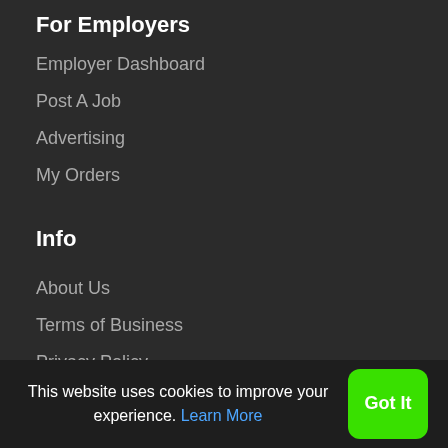For Employers
Employer Dashboard
Post A Job
Advertising
My Orders
Info
About Us
Terms of Business
Privacy Policy
Contact Us
This website uses cookies to improve your experience. Learn More
Got It